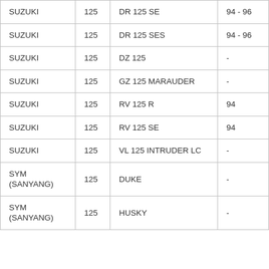| SUZUKI | 125 | DR 125 SE | 94 - 96 |
| SUZUKI | 125 | DR 125 SES | 94 - 96 |
| SUZUKI | 125 | DZ 125 | - |
| SUZUKI | 125 | GZ 125 MARAUDER | - |
| SUZUKI | 125 | RV 125 R | 94 |
| SUZUKI | 125 | RV 125 SE | 94 |
| SUZUKI | 125 | VL 125 INTRUDER LC | - |
| SYM (SANYANG) | 125 | DUKE | - |
| SYM (SANYANG) | 125 | HUSKY | - |